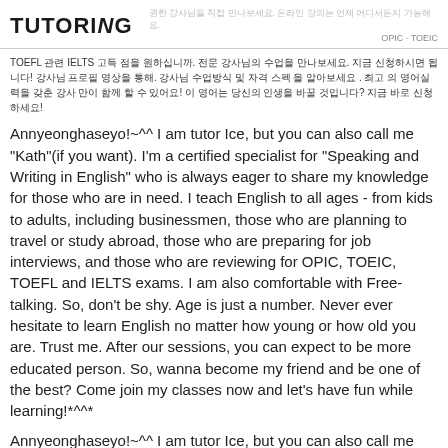TUTORiNG
TOEFL 관련 IELTS 고득 점을 원하십니까. 전문 강사님의 수업을 만나보세요. 지금 신청하시면 됩니다! 강사님 프로필 영상을 통해. 강사님 수업방식 및 자격 스펙 을 알아보세요 . 최고 의 영어실력을 갖춘 강사 만이 함께 할 수 있어요! 이 영어는 당신의 인생을 바꿀 것입니다? 지금 바로 신청하세요!
Annyeonghaseyo!~^^ I am tutor Ice, but you can also call me "Kath"(if you want). I'm a certified specialist for "Speaking and Writing in English" who is always eager to share my knowledge for those who are in need. I teach English to all ages - from kids to adults, including businessmen, those who are planning to travel or study abroad, those who are preparing for job interviews, and those who are reviewing for OPIC, TOEIC, TOEFL and IELTS exams. I am also comfortable with Free-talking. So, don't be shy. Age is just a number. Never ever hesitate to learn English no matter how young or how old you are. Trust me. After our sessions, you can expect to be more educated person. So, wanna become my friend and be one of the best? Come join my classes now and let's have fun while learning!*^^*
Annyeonghaseyo!~^^ I am tutor Ice, but you can also call me